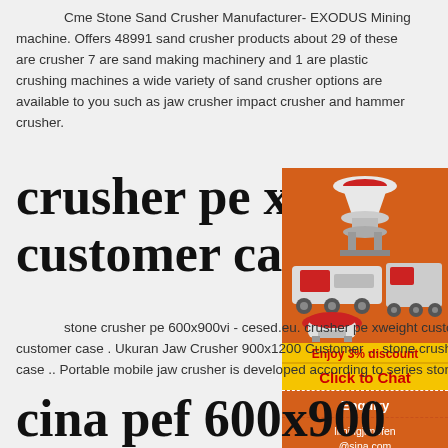Cme Stone Sand Crusher Manufacturer- EXODUS Mining machine. Offers 48991 sand crusher products about 29 of these are crusher 7 are sand making machinery and 1 are plastic crushing machines a wide variety of sand crusher options are available to you such as jaw crusher impact crusher and hammer crusher.
crusher pe xweig customer case
[Figure (photo): Industrial mining/crushing machinery images including cone crusher, jaw crusher, mobile crusher on orange background]
Enjoy 3% discount
Click to Chat
Enquiry
limingjlmofen@sina.com
stone crusher pe 600x900vi - cesed.eu. crusher pe xweight customer case-Xinhai - stone crusher pe 600x900vi customer case . Ukuran Jaw Crusher 900x1200 Customer ... stone crusher 150 x 75 crusher pe 150x750 weight customer case .. Portable mobile jaw crusher is developed according to series stone crushing equipment's design idea
cina pef 600x900